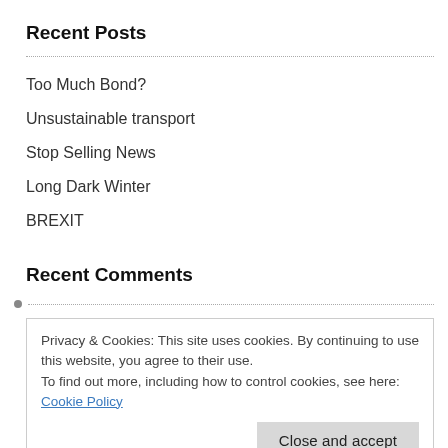Recent Posts
Too Much Bond?
Unsustainable transport
Stop Selling News
Long Dark Winter
BREXIT
Recent Comments
Privacy & Cookies: This site uses cookies. By continuing to use this website, you agree to their use.
To find out more, including how to control cookies, see here: Cookie Policy
Close and accept
Scott on Phones in pubs